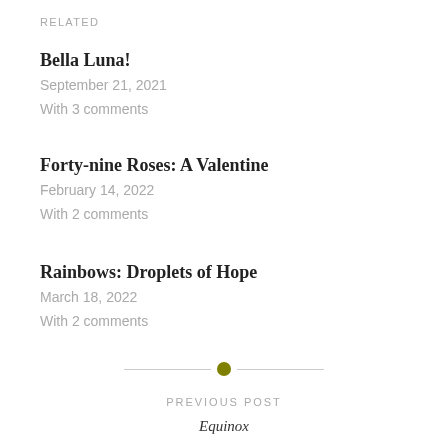RELATED
Bella Luna!
September 21, 2021
With 3 comments
Forty-nine Roses: A Valentine
February 14, 2022
With 2 comments
Rainbows: Droplets of Hope
March 18, 2022
With 2 comments
[Figure (other): Horizontal divider with a small olive/dark yellow circle in the center flanked by thin lines]
PREVIOUS POST
Equinox